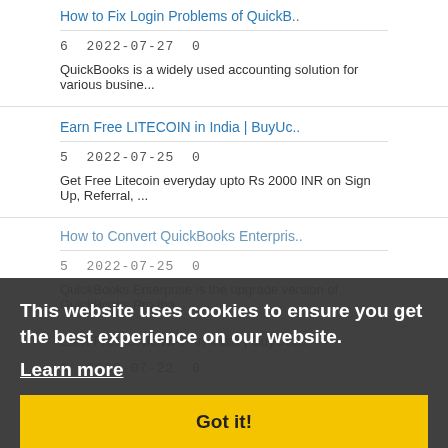How to Fix Login Problems of QuickB..
6  2022-07-27  0
QuickBooks is a widely used accounting solution for various busine...
Earn Free LITECOIN in India | BuyUc..
5  2022-07-25  0
Get Free Litecoin everyday upto Rs 2000 INR on Sign Up, Referral, ...
How to Convert QuickBooks Enterpris..
5  2022-07-25  0
QuickBooks Enterprise is the upgrade version of QuickBooks Pro tha...
Earn Free UNISWAP in India | BuyUco..
6  2022-07-22  0
This website uses cookies to ensure you get the best experience on our website.
Learn more
Got it!